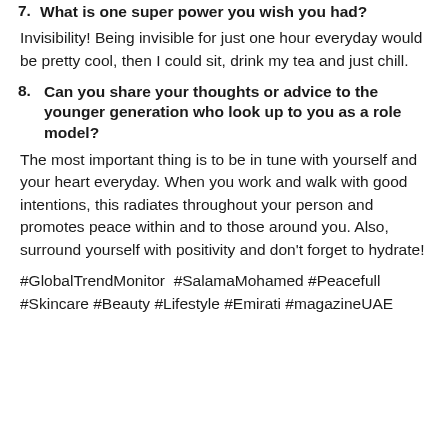7. What is one super power you wish you had?
Invisibility! Being invisible for just one hour everyday would be pretty cool, then I could sit, drink my tea and just chill.
8. Can you share your thoughts or advice to the younger generation who look up to you as a role model?
The most important thing is to be in tune with yourself and your heart everyday. When you work and walk with good intentions, this radiates throughout your person and promotes peace within and to those around you. Also, surround yourself with positivity and don't forget to hydrate!
#GlobalTrendMonitor  #SalamaMohamed #Peacefull #Skincare #Beauty #Lifestyle #Emirati #magazineUAE